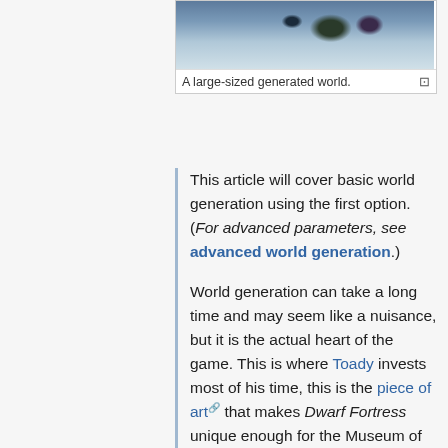[Figure (photo): A large-sized generated world shown from above, featuring colorful terrain including blue water regions, gray stone areas, and patches of green and other colors.]
A large-sized generated world.
This article will cover basic world generation using the first option. (For advanced parameters, see advanced world generation.)
World generation can take a long time and may seem like a nuisance, but it is the actual heart of the game. This is where Toady invests most of his time, this is the piece of art that makes Dwarf Fortress unique enough for the Museum of Modern Art in New York City. While you wait for the counter to finish, an entire fantasy world with unique geography, history, and even language is created. Entire